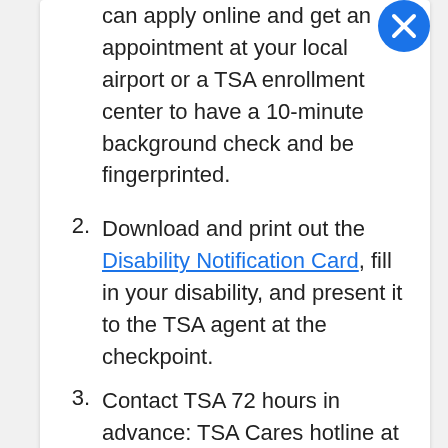can apply online and get an appointment at your local airport or a TSA enrollment center to have a 10-minute background check and be fingerprinted.
2. Download and print out the Disability Notification Card, fill in your disability, and present it to the TSA agent at the checkpoint.
3. Contact TSA 72 hours in advance: TSA Cares hotline at 1-855-787-2227 or TSA-ContactCenter@dhs.gov The TSA Cares program can provide a TSA agent to escort the traveler through the airport and assist in the